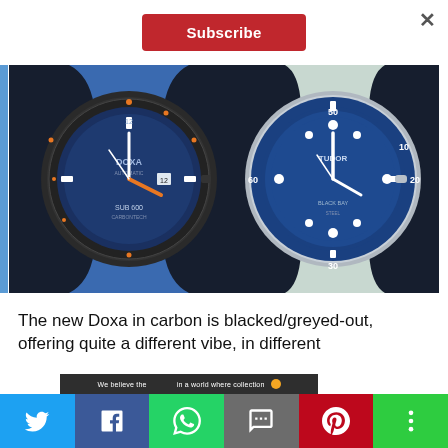×
Subscribe
[Figure (photo): Two dive watches side by side: on the left, a Doxa watch with carbon/dark case and blue dial with orange accents on a blue rubber strap; on the right, a Tudor Black Bay watch with blue bezel and blue dial on a light blue/grey leather strap.]
The new Doxa in carbon is blacked/greyed-out, offering quite a different vibe, in different
Social share bar with Twitter, Facebook, WhatsApp, SMS, Pinterest, More buttons